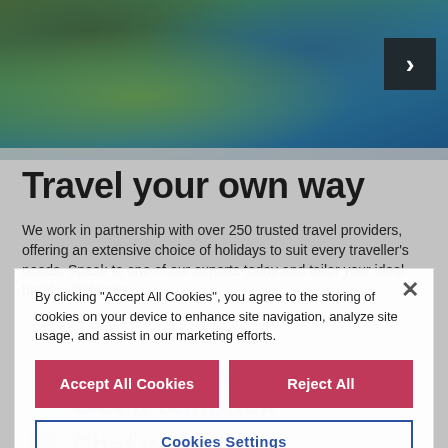[Figure (photo): Background photo of rocky coastal scenery with green vegetation and blue sea water, with a dark navigation arrow button on the right]
Travel your own way
We work in partnership with over 250 trusted travel providers, offering an extensive choice of holidays to suit every traveller's needs. Speak to one of our experts today and tailor your ideal break with Inspire.
By clicking "Accept All Cookies", you agree to the storing of cookies on your device to enhance site navigation, analyze site usage, and assist in our marketing efforts.
Accept All Cookies
Reject All
Cookies Settings
0161 440 6620
Can't talk right now?
Get a callback
We can help
Chat with us